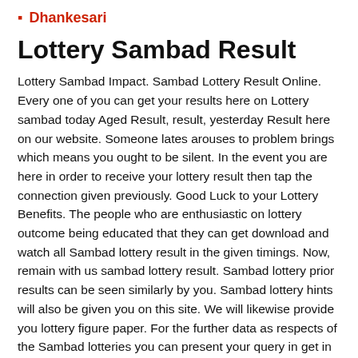Dhankesari
Lottery Sambad Result
Lottery Sambad Impact. Sambad Lottery Result Online. Every one of you can get your results here on Lottery sambad today Aged Result, result, yesterday Result here on our website. Someone lates arouses to problem brings which means you ought to be silent. In the event you are here in order to receive your lottery result then tap the connection given previously. Good Luck to your Lottery Benefits. The people who are enthusiastic on lottery outcome being educated that they can get download and watch all Sambad lottery result in the given timings. Now, remain with us sambad lottery result. Sambad lottery prior results can be seen similarly by you. Sambad lottery hints will also be given you on this site. We will likewise provide you lottery figure paper. For the further data as respects of the Sambad lotteries you can present your query in get in touch with us silhouette.